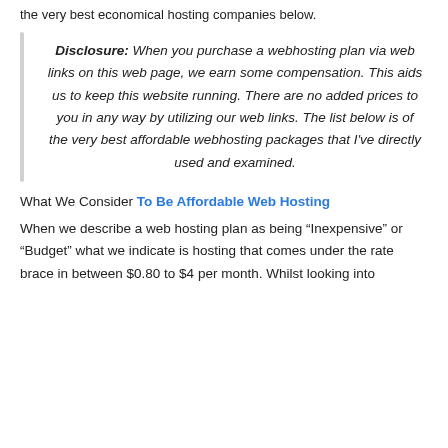the very best economical hosting companies below.
Disclosure: When you purchase a webhosting plan via web links on this web page, we earn some compensation. This aids us to keep this website running. There are no added prices to you in any way by utilizing our web links. The list below is of the very best affordable webhosting packages that I've directly used and examined.
What We Consider To Be Affordable Web Hosting
When we describe a web hosting plan as being “Inexpensive” or “Budget” what we indicate is hosting that comes under the rate brace in between $0.80 to $4 per month. Whilst looking into